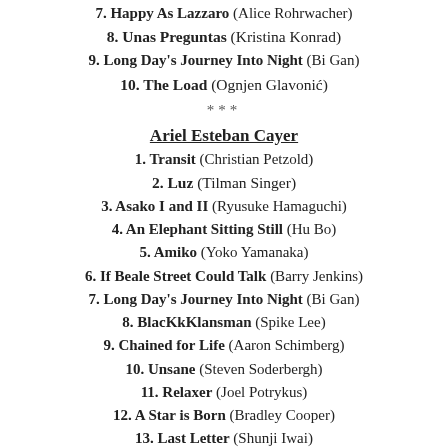7. Happy As Lazzaro (Alice Rohrwacher)
8. Unas Preguntas (Kristina Konrad)
9. Long Day's Journey Into Night (Bi Gan)
10. The Load (Ognjen Glavonić)
***
Ariel Esteban Cayer
1. Transit (Christian Petzold)
2. Luz (Tilman Singer)
3. Asako I and II (Ryusuke Hamaguchi)
4. An Elephant Sitting Still (Hu Bo)
5. Amiko (Yoko Yamanaka)
6. If Beale Street Could Talk (Barry Jenkins)
7. Long Day's Journey Into Night (Bi Gan)
8. BlacKkKlansman (Spike Lee)
9. Chained for Life (Aaron Schimberg)
10. Unsane (Steven Soderbergh)
11. Relaxer (Joel Potrykus)
12. A Star is Born (Bradley Cooper)
13. Last Letter (Shunji Iwai)
14. Ash is Purest White (Jia Zhang-ke)
15. Microhabitat (Jeon Go-woon)
16. Spider-Man: Into the Spider-Verse (Peter Ramsey, Robert Persichetti, Rodney Rothman)